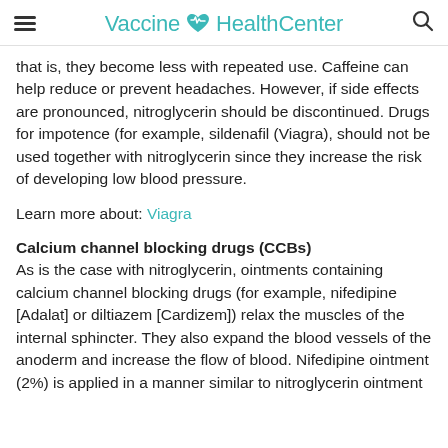Vaccine HealthCenter
that is, they become less with repeated use. Caffeine can help reduce or prevent headaches. However, if side effects are pronounced, nitroglycerin should be discontinued. Drugs for impotence (for example, sildenafil (Viagra), should not be used together with nitroglycerin since they increase the risk of developing low blood pressure.
Learn more about: Viagra
Calcium channel blocking drugs (CCBs)
As is the case with nitroglycerin, ointments containing calcium channel blocking drugs (for example, nifedipine [Adalat] or diltiazem [Cardizem]) relax the muscles of the internal sphincter. They also expand the blood vessels of the anoderm and increase the flow of blood. Nifedipine ointment (2%) is applied in a manner similar to nitroglycerin ointment